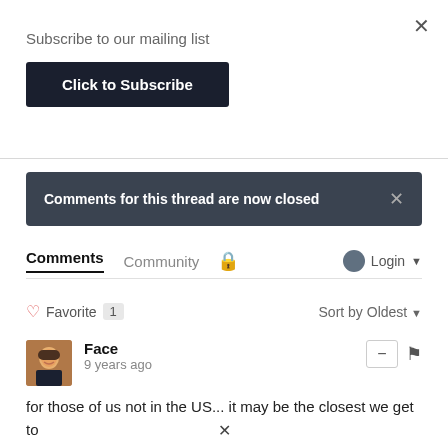Subscribe to our mailing list
Click to Subscribe
Comments for this thread are now closed
Comments   Community   Login
♡ Favorite  1   Sort by Oldest
Face
9 years ago
for those of us not in the US... it may be the closest we get to